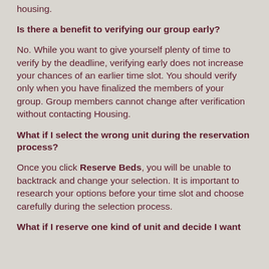housing.
Is there a benefit to verifying our group early?
No. While you want to give yourself plenty of time to verify by the deadline, verifying early does not increase your chances of an earlier time slot. You should verify only when you have finalized the members of your group. Group members cannot change after verification without contacting Housing.
What if I select the wrong unit during the reservation process?
Once you click Reserve Beds, you will be unable to backtrack and change your selection. It is important to research your options before your time slot and choose carefully during the selection process.
What if I reserve one kind of unit and decide I want